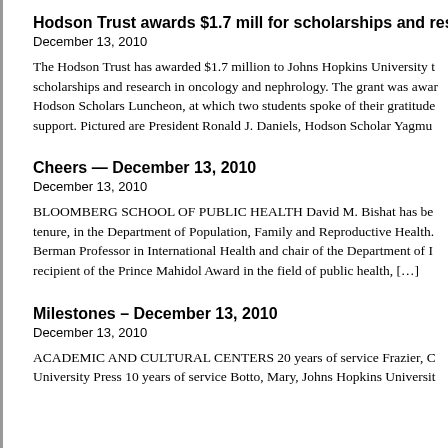Hodson Trust awards $1.7 mill for scholarships and res
December 13, 2010
The Hodson Trust has awarded $1.7 million to Johns Hopkins University t scholarships and research in oncology and nephrology. The grant was awar Hodson Scholars Luncheon, at which two students spoke of their gratitude support. Pictured are President Ronald J. Daniels, Hodson Scholar Yagmu
Cheers — December 13, 2010
December 13, 2010
BLOOMBERG SCHOOL OF PUBLIC HEALTH David M. Bishat has be tenure, in the Department of Population, Family and Reproductive Health. Berman Professor in International Health and chair of the Department of I recipient of the Prince Mahidol Award in the field of public health, […]
Milestones – December 13, 2010
December 13, 2010
ACADEMIC AND CULTURAL CENTERS 20 years of service Frazier, C University Press 10 years of service Botto, Mary, Johns Hopkins Universit for Trin... Min-k Eorum of option Dowl Jefferson John Hopkins M